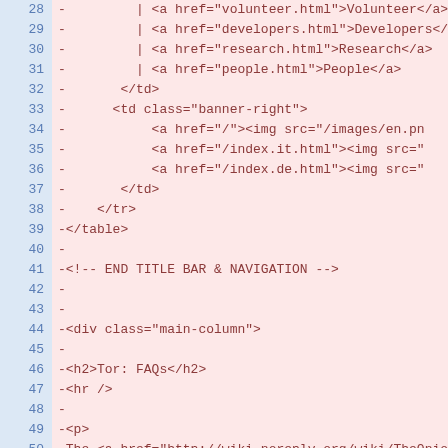[Figure (screenshot): Code diff view showing lines 28-51 of an HTML file, with line numbers on the left in a blue column and code content on the right in a pink/red background. All lines are prefixed with a minus sign indicating deletions.]